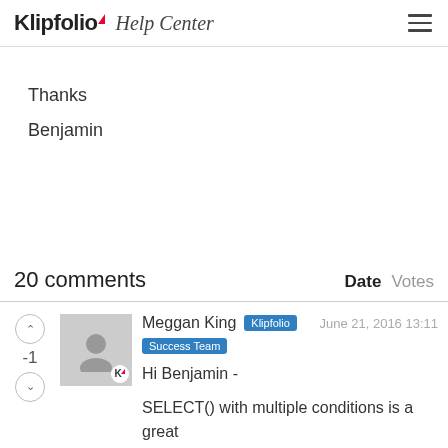Klipfolio Help Center
Thanks
Benjamin
20 comments
Date   Votes
Meggan King   Klipfolio Success Team   June 21, 2016 13:11
-1
Hi Benjamin -
SELECT() with multiple conditions is a great